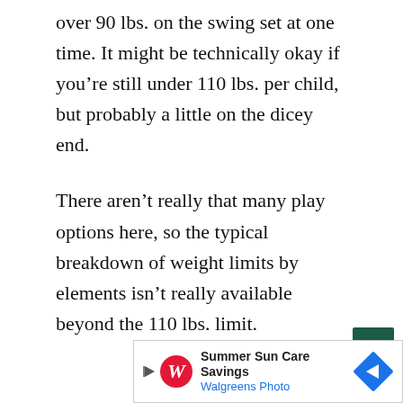over 90 lbs. on the swing set at one time. It might be technically okay if you're still under 110 lbs. per child, but probably a little on the dicey end.
There aren't really that many play options here, so the typical breakdown of weight limits by elements isn't really available beyond the 110 lbs. limit.
[Figure (other): Walgreens advertisement banner: Summer Sun Care Savings, Walgreens Photo, with Walgreens W logo and navigation arrow icon]